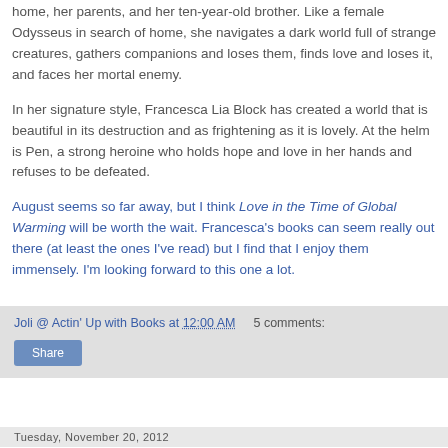home, her parents, and her ten-year-old brother. Like a female Odysseus in search of home, she navigates a dark world full of strange creatures, gathers companions and loses them, finds love and loses it, and faces her mortal enemy.
In her signature style, Francesca Lia Block has created a world that is beautiful in its destruction and as frightening as it is lovely. At the helm is Pen, a strong heroine who holds hope and love in her hands and refuses to be defeated.
August seems so far away, but I think Love in the Time of Global Warming will be worth the wait. Francesca's books can seem really out there (at least the ones I've read) but I find that I enjoy them immensely. I'm looking forward to this one a lot.
Joli @ Actin' Up with Books at 12:00 AM   5 comments:   Share
Tuesday, November 20, 2012